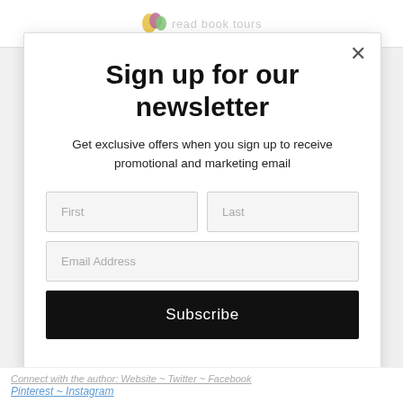[Figure (logo): Website header with partial logo (colored circles/leaves icon and partial text 'read book tours') visible behind modal]
Sign up for our newsletter
Get exclusive offers when you sign up to receive promotional and marketing email
First | Last (form input fields)
Email Address (form input field)
Subscribe
Connect with the author: Website ~ Twitter ~ Facebook Pinterest ~ Instagram